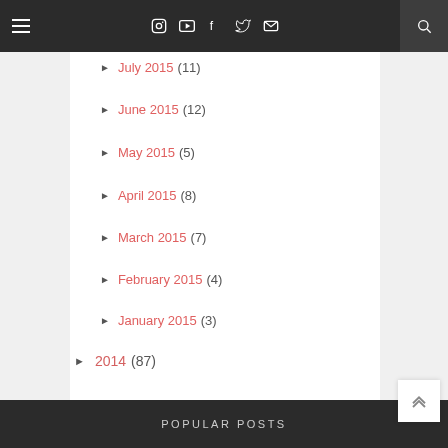Navigation bar with hamburger menu, social icons (Instagram, YouTube, Facebook, Twitter, Mail), and search
► July 2015 (11)
► June 2015 (12)
► May 2015 (5)
► April 2015 (8)
► March 2015 (7)
► February 2015 (4)
► January 2015 (3)
► 2014 (87)
► 2013 (80)
► 2012 (71)
► 2011 (4)
POPULAR POSTS